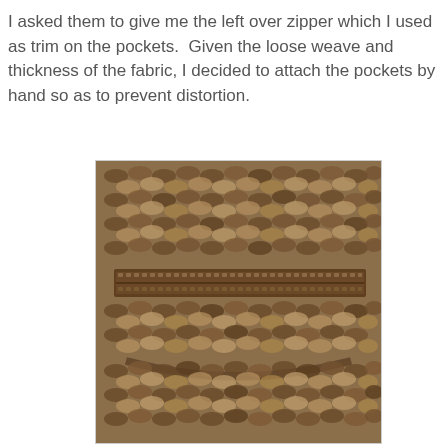I asked them to give me the left over zipper which I used as trim on the pockets.  Given the loose weave and thickness of the fabric, I decided to attach the pockets by hand so as to prevent distortion.
[Figure (photo): Close-up photograph of a chunky brown/tan knit fabric with a zipper trim attached horizontally across a pocket. The zipper is dark brown, matching the fabric tones. The knit texture is very visible — thick, loose weave in mixed brown and tan yarns. A curved pocket edge is visible below the zipper.]